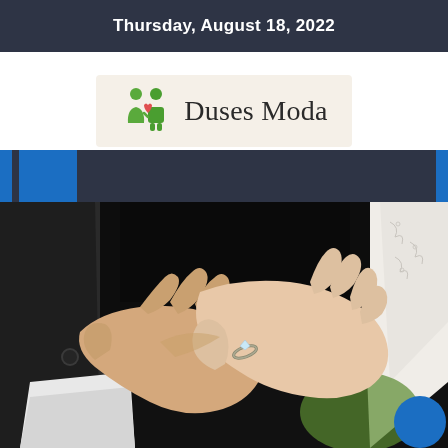Thursday, August 18, 2022
[Figure (logo): Duses Moda logo with green couple icon on beige background]
[Figure (photo): Close-up photo of a bride and groom holding hands, showing wedding ring, groom in black suit with white shirt, bride in white lace dress, dark background]